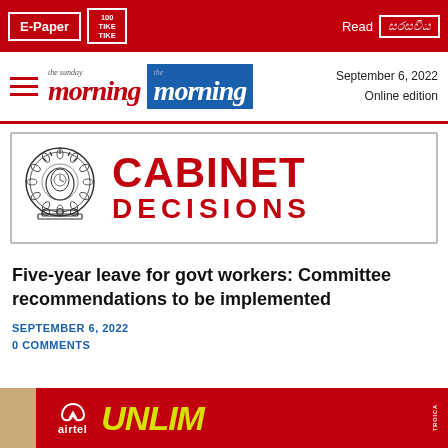E-Paper | [logo] | Read [Sinhala logo]
the sunday morning | the morning | September 6, 2022 Online edition
[Figure (logo): Cabinet Decisions banner with Sri Lanka emblem and bold red CABINET DECISIONS text]
Five-year leave for govt workers: Committee recommendations to be implemented
SEPTEMBER 6, 2022
0 COMMENTS
[Figure (photo): Airtel advertisement banner with red background showing airtel logo and UNLIM text in yellow]